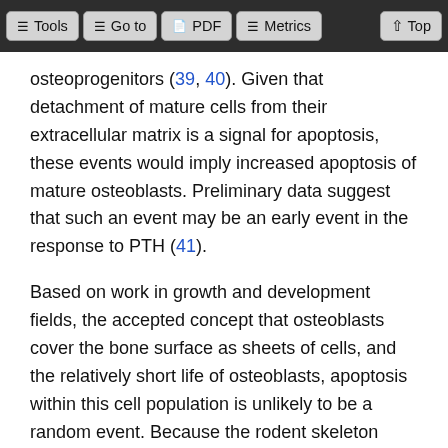Tools | Go to | PDF | Metrics | Top
osteoprogenitors (39, 40). Given that detachment of mature cells from their extracellular matrix is a signal for apoptosis, these events would imply increased apoptosis of mature osteoblasts. Preliminary data suggest that such an event may be an early event in the response to PTH (41).
Based on work in growth and development fields, the accepted concept that osteoblasts cover the bone surface as sheets of cells, and the relatively short life of osteoblasts, apoptosis within this cell population is unlikely to be a random event. Because the rodent skeleton continues to develop throughout most of life, owing to at least 1 active growth plate in most bones, experimentally induced responses in rodents may reflect effects on growth processes and bone morphogenesis. In vivo PTH administration from the perspective of